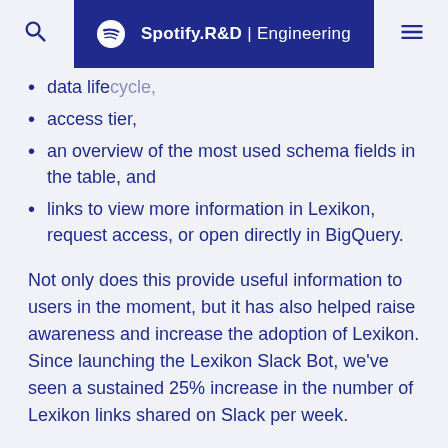Spotify R&D | Engineering
data lifecycle,
access tier,
an overview of the most used schema fields in the table, and
links to view more information in Lexikon, request access, or open directly in BigQuery.
Not only does this provide useful information to users in the moment, but it has also helped raise awareness and increase the adoption of Lexikon. Since launching the Lexikon Slack Bot, we've seen a sustained 25% increase in the number of Lexikon links shared on Slack per week.
Helping people get started with a dataset they've discovered